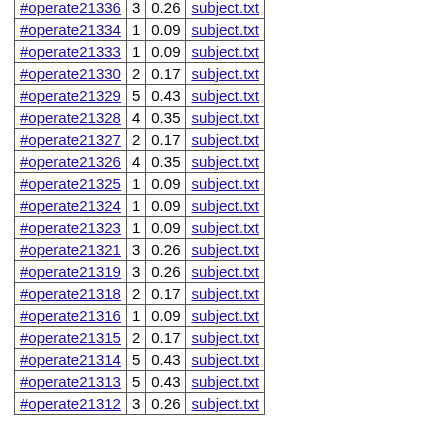| #operate21336 | 3 | 0.26 | subject.txt |
| #operate21334 | 1 | 0.09 | subject.txt |
| #operate21333 | 1 | 0.09 | subject.txt |
| #operate21330 | 2 | 0.17 | subject.txt |
| #operate21329 | 5 | 0.43 | subject.txt |
| #operate21328 | 4 | 0.35 | subject.txt |
| #operate21327 | 2 | 0.17 | subject.txt |
| #operate21326 | 4 | 0.35 | subject.txt |
| #operate21325 | 1 | 0.09 | subject.txt |
| #operate21324 | 1 | 0.09 | subject.txt |
| #operate21323 | 1 | 0.09 | subject.txt |
| #operate21321 | 3 | 0.26 | subject.txt |
| #operate21319 | 3 | 0.26 | subject.txt |
| #operate21318 | 2 | 0.17 | subject.txt |
| #operate21316 | 1 | 0.09 | subject.txt |
| #operate21315 | 2 | 0.17 | subject.txt |
| #operate21314 | 5 | 0.43 | subject.txt |
| #operate21313 | 5 | 0.43 | subject.txt |
| #operate21312 | 3 | 0.26 | subject.txt |